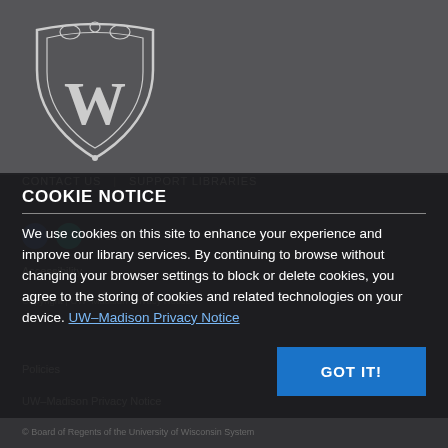[Figure (logo): University of Wisconsin-Madison crest logo with stylized W, white on dark gray background]
CONTACT US | SUPPORT LIBRARIES
Accessibility | Copyright | UW–Madison Privacy Notice | © Board of Regents of the University of Wisconsin System | Policies | UW–Madison Privacy Notice
COOKIE NOTICE
We use cookies on this site to enhance your experience and improve our library services. By continuing to browse without changing your browser settings to block or delete cookies, you agree to the storing of cookies and related technologies on your device. UW–Madison Privacy Notice
GOT IT!